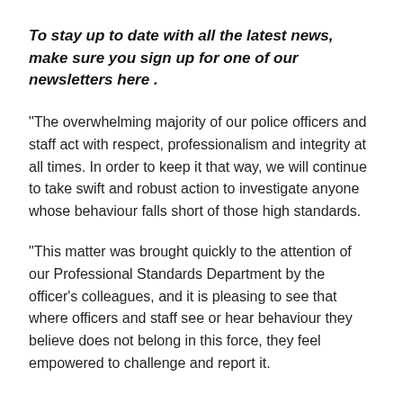To stay up to date with all the latest news, make sure you sign up for one of our newsletters here .
"The overwhelming majority of our police officers and staff act with respect, professionalism and integrity at all times. In order to keep it that way, we will continue to take swift and robust action to investigate anyone whose behaviour falls short of those high standards.
"This matter was brought quickly to the attention of our Professional Standards Department by the officer’s colleagues, and it is pleasing to see that where officers and staff see or hear behaviour they believe does not belong in this force, they feel empowered to challenge and report it.